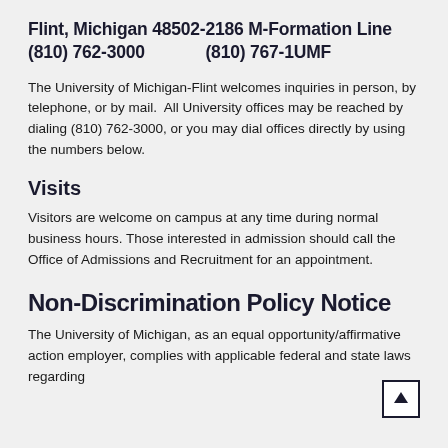Flint, Michigan 48502-2186 M-Formation Line (810) 762-3000 (810) 767-1UMF
The University of Michigan-Flint welcomes inquiries in person, by telephone, or by mail. All University offices may be reached by dialing (810) 762-3000, or you may dial offices directly by using the numbers below.
Visits
Visitors are welcome on campus at any time during normal business hours. Those interested in admission should call the Office of Admissions and Recruitment for an appointment.
Non-Discrimination Policy Notice
The University of Michigan, as an equal opportunity/affirmative action employer, complies with applicable federal and state laws regarding